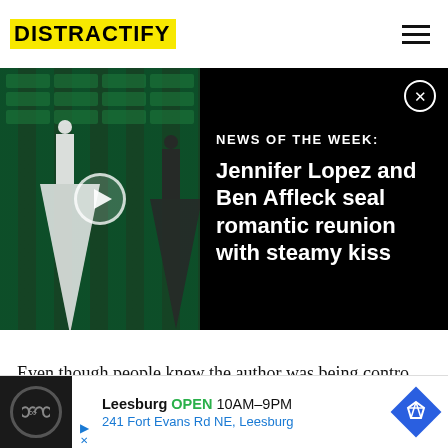DISTRACTIFY
[Figure (screenshot): Video thumbnail showing Jennifer Lopez at a red carpet event in a white gown, with a play button overlay and a dark-dressed figure in the background. News overlay on the right reads: NEWS OF THE WEEK: Jennifer Lopez and Ben Affleck seal romantic reunion with steamy kiss]
Even though people knew the author was being contro... ...tory,
[Figure (screenshot): Advertisement banner: Leesburg OPEN 10AM-9PM, 241 Fort Evans Rd NE, Leesburg]